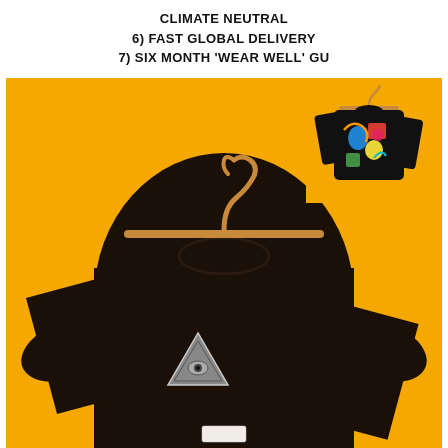CLIMATE NEUTRAL
6) FAST GLOBAL DELIVERY
7) SIX MONTH 'WEAR WELL' GU
[Figure (photo): Black crewneck sweatshirt with a triangle logo patch on the chest, hanging on a wooden hanger against a bright orange/yellow background. In the upper right corner, a smaller view of the back of the same sweatshirt showing a colorful abstract art print.]